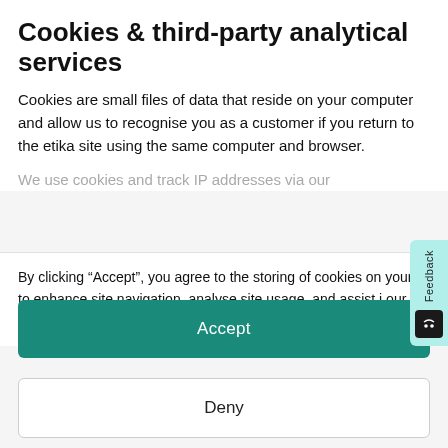Cookies & third-party analytical services
Cookies are small files of data that reside on your computer and allow us to recognise you as a customer if you return to the etika site using the same computer and browser.
We use cookies and track IP addresses via our
By clicking “Accept”, you agree to the storing of cookies on your device to enhance site navigation, analyse site usage, and assist in our marketing efforts. View our Privacy Policy for more information
Accept
Deny